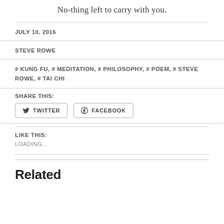No-thing left to carry with you.
JULY 10, 2016
STEVE ROWE
# KUNG FU, # MEDITATION, # PHILOSOPHY, # POEM, # STEVE ROWE, # TAI CHI
SHARE THIS:
TWITTER
FACEBOOK
LIKE THIS:
LOADING...
Related